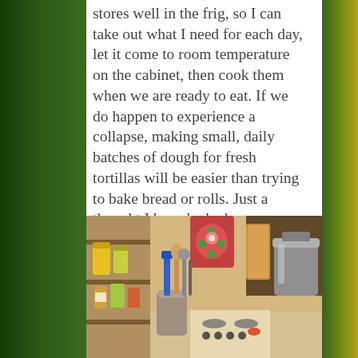stores well in the frig, so I can take out what I need for each day, let it come to room temperature on the cabinet, then cook them when we are ready to eat. If we do happen to experience a collapse, making small, daily batches of dough for fresh tortillas will be easier than trying to bake bread or rolls. Just a thought I have had when we transitioned to making daily tortillas.
[Figure (photo): A cluttered kitchen counter with cooking utensils in a container (blue spatula, wooden spoon, ladles), a gas stove, cutting boards, jars and condiments on a shelf to the left, and a large stainless steel pot on the right.]